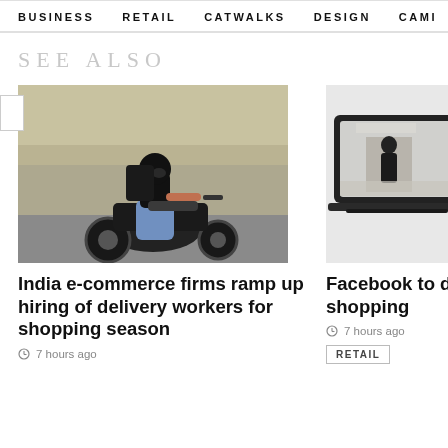BUSINESS   RETAIL   CATWALKS   DESIGN   CAMI >
SEE ALSO
[Figure (photo): A delivery worker on a motorcycle carrying a large black backpack, riding on an urban road.]
India e-commerce firms ramp up hiring of delivery workers for shopping season
7 hours ago
[Figure (photo): A laptop displaying a woman presenting at what appears to be a fashion brand website or livestream.]
Facebook to d shopping
7 hours ago
RETAIL